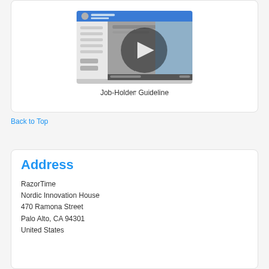[Figure (screenshot): Video thumbnail showing a software application interface with a play button overlay]
Job-Holder Guideline
Back to Top
Address
RazorTime
Nordic Innovation House
470 Ramona Street
Palo Alto, CA 94301
United States